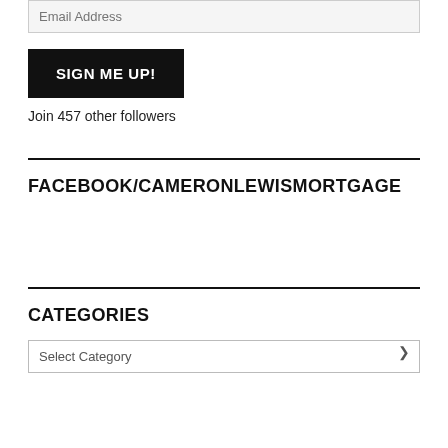Email Address
SIGN ME UP!
Join 457 other followers
FACEBOOK/CAMERONLEWISMORTGAGE
CATEGORIES
Select Category